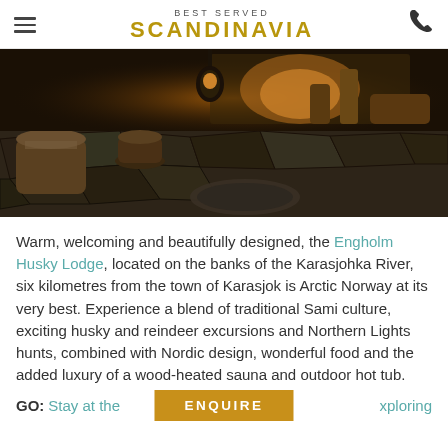BEST SERVED SCANDINAVIA
[Figure (photo): Interior of a rustic Nordic lodge with dark stone floor, a hanging lantern, wooden drums and logs, animal hide rug, warm ambient lighting from a fireplace in the background.]
Warm, welcoming and beautifully designed, the Engholm Husky Lodge, located on the banks of the Karasjohka River, six kilometres from the town of Karasjok is Arctic Norway at its very best. Experience a blend of traditional Sami culture, exciting husky and reindeer excursions and Northern Lights hunts, combined with Nordic design, wonderful food and the added luxury of a wood-heated sauna and outdoor hot tub.
GO: Stay at the ... xploring